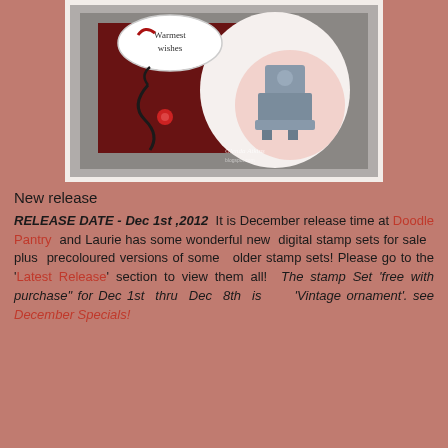[Figure (photo): A crafting card image showing a vintage ornament design with 'Warmest wishes' text, decorative swirls, a red floral element, and a vintage potbelly stove illustration. Signed by Glenda Atkins. The card has a red background with grey border.]
New release
RELEASE DATE - Dec 1st ,2012  It is December release time at Doodle Pantry  and Laurie has some wonderful new  digital stamp sets for sale  plus  precoloured versions of some  older stamp sets! Please go to the 'Latest Release' section to view them all!  The stamp Set 'free with purchase" for Dec 1st thru Dec 8th is  'Vintage ornament'. see December Specials!